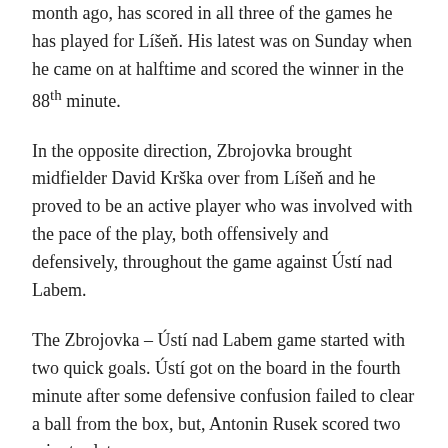month ago, has scored in all three of the games he has played for Líšeň. His latest was on Sunday when he came on at halftime and scored the winner in the 88th minute.
In the opposite direction, Zbrojovka brought midfielder David Krška over from Líšeň and he proved to be an active player who was involved with the pace of the play, both offensively and defensively, throughout the game against Ústí nad Labem.
The Zbrojovka – Ústí nad Labem game started with two quick goals. Ústí got on the board in the fourth minute after some defensive confusion failed to clear a ball from the box, but, Antonin Rusek scored two minutes later.
Zbrojovka took the lead in the 81st minute when Simon Sumbera, who also helped with the first Zbrojovka goal, made a perfect pass from the wing to the foot of Lukáš